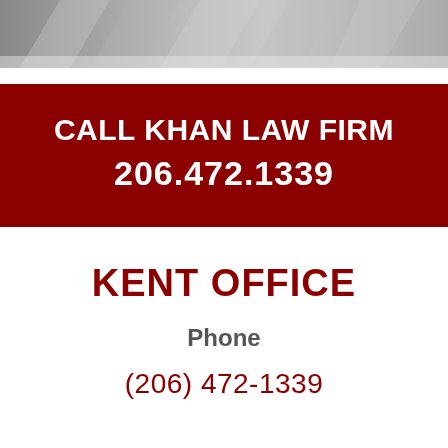[Figure (photo): Partial photo of a building or architectural element with diagonal geometric shapes, gray tones, serving as a decorative banner image at the top of the page.]
CALL KHAN LAW FIRM 206.472.1339
KENT OFFICE
Phone
(206) 472-1339